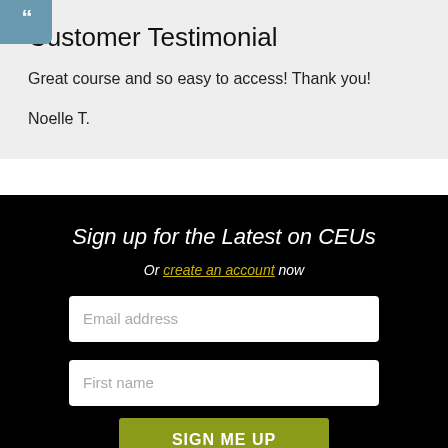Customer Testimonial
Great course and so easy to access! Thank you!
Noelle T.
Sign up for the Latest on CEUs
Or create an account now
Email address
First name
SIGN ME UP